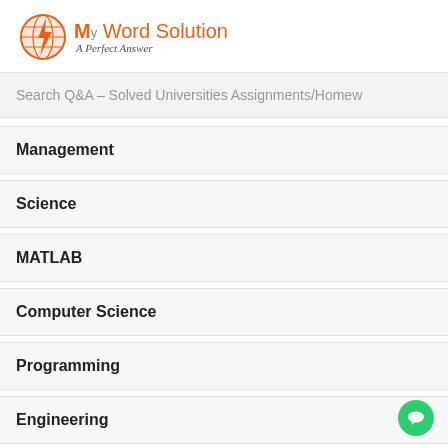[Figure (logo): MyWord Solution logo with orange lightning bolt globe icon and tagline 'A Perfect Answer']
Search Q&A – Solved Universities Assignments/Homew
Management
Science
MATLAB
Computer Science
Programming
Engineering
English